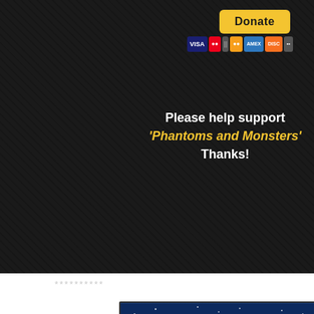[Figure (other): Donate button with PayPal and payment card icons (Visa, Mastercard, Maestro, Amex, Discover, and another card) on dark background]
Please help support 'Phantoms and Monsters' Thanks!
**********
[Figure (illustration): Banner image with night sky background showing mountains and stars. Text 'CLICK BANNER TO' in white bold uppercase letters. Book/product image with text 'The Existence Of' in gold italic and partial orange text below.]